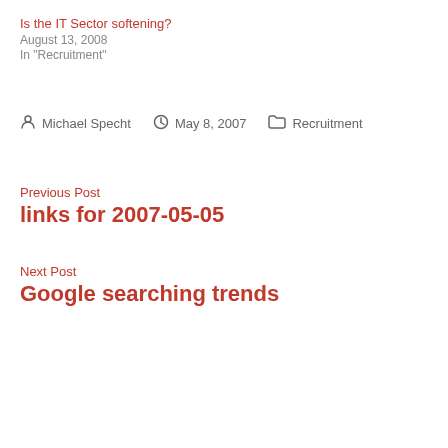Is the IT Sector softening?
August 13, 2008
In "Recruitment"
Posted by Michael Specht   May 8, 2007   Categories: Recruitment
Previous Post
links for 2007-05-05
Next Post
Google searching trends